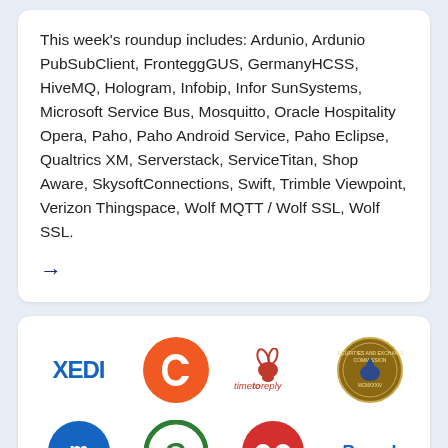This week's roundup includes: Ardunio, Ardunio PubSubClient, FronteggGUS, GermanyHCSS, HiveMQ, Hologram, Infobip, Infor SunSystems, Microsoft Service Bus, Mosquitto, Oracle Hospitality Opera, Paho, Paho Android Service, Paho Eclipse, Qualtrics XM, Serverstack, ServiceTitan, Shop Aware, SkysoftConnections, Swift, Trimble Viewpoint, Verizon Thingspace, Wolf MQTT / Wolf SSL, Wolf SSL.
[Figure (logo): Grid of logos: XEDI, orange circular logo, timetoreply (with rabbit icon), SEC seal, blue circular logo, green circular G logo, red circular logo, Parcel text logo, and partial logos at bottom]